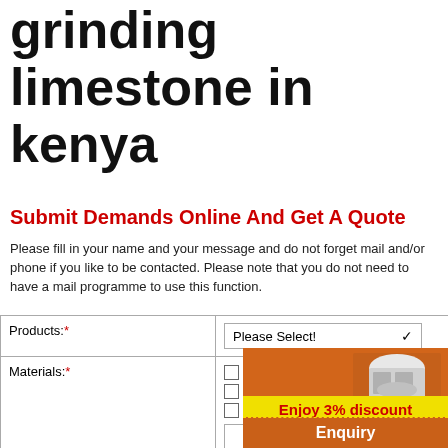grinding limestone in kenya
Submit Demands Online And Get A Quote
Please fill in your name and your message and do not forget mail and/or phone if you like to be contacted. Please note that you do not need to have a mail programme to use this function.
| Field | Value |
| --- | --- |
| Products:* | Please Select! (dropdown) |
| Materials:* | ☐ Basalt ☐ Barite ☐ Bentonite ☐ Calc... ☐ Dolomite ☐ Feldspar ☐ Gypsum ☐ ... ☐ Quartz ☐ Pebble ☐ Slag ☐ Limesto... [text input] |
| Capacity: (Crusher)* | ○ < 30 ○ 30-50 ○ 50-100 ○ 100-200 ○ 300-500 ○ 500-800 ( tons per hour) |
| Capacity: (Mill)* | ○ 0.5-5 ○ 5-10 ○ 10-30 ○ 30-50 ○ 5... hour) |
[Figure (photo): Orange sidebar with mining/crushing machinery images, 3% discount badge, Click to Chat button, and Enquiry button]